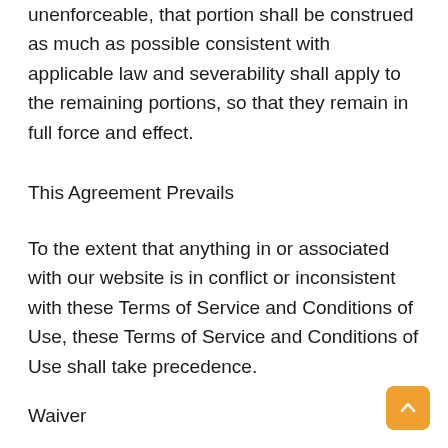unenforceable, that portion shall be construed as much as possible consistent with applicable law and severability shall apply to the remaining portions, so that they remain in full force and effect.
This Agreement Prevails
To the extent that anything in or associated with our website is in conflict or inconsistent with these Terms of Service and Conditions of Use, these Terms of Service and Conditions of Use shall take precedence.
Waiver